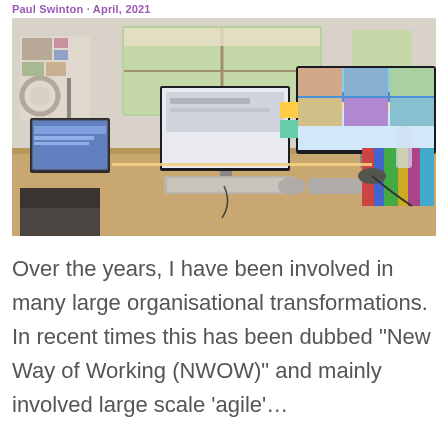Paul Swinton · April, 2021
[Figure (photo): A home office desk setup with two large monitors (one ultrawide), a laptop, keyboard, ring light, microphone, books on shelves on the right, and papers/items on the wooden desk. A window with natural light is visible in the background.]
Over the years, I have been involved in many large organisational transformations. In recent times this has been dubbed "New Way of Working (NWOW)" and mainly involved large scale 'agile'…